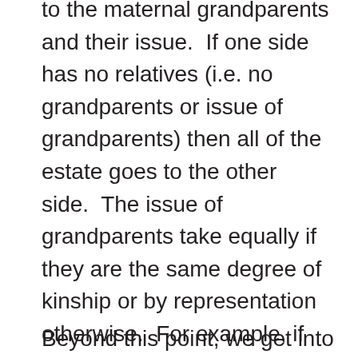to the maternal grandparents and their issue.  If one side has no relatives (i.e. no grandparents or issue of grandparents) then all of the estate goes to the other side.  The issue of grandparents take equally if they are the same degree of kinship or by representation otherwise.  For example, if the next of kin are an aunt and the children of a predeceased uncle, the aunt would take one-half of the estate and the children of the predeceased uncle would each receive one-quarter of the estate.
Beyond this point, we get into the concept of